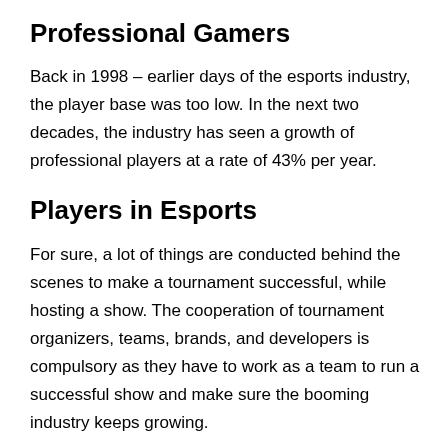Professional Gamers
Back in 1998 – earlier days of the esports industry, the player base was too low. In the next two decades, the industry has seen a growth of professional players at a rate of 43% per year.
Players in Esports
For sure, a lot of things are conducted behind the scenes to make a tournament successful, while hosting a show. The cooperation of tournament organizers, teams, brands, and developers is compulsory as they have to work as a team to run a successful show and make sure the booming industry keeps growing.
Top Teams